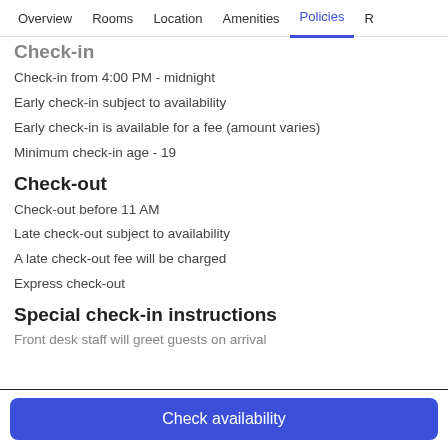Overview | Rooms | Location | Amenities | Policies | R
Check-in
Check-in from 4:00 PM - midnight
Early check-in subject to availability
Early check-in is available for a fee (amount varies)
Minimum check-in age - 19
Check-out
Check-out before 11 AM
Late check-out subject to availability
A late check-out fee will be charged
Express check-out
Special check-in instructions
Front desk staff will greet guests on arrival
Check availability